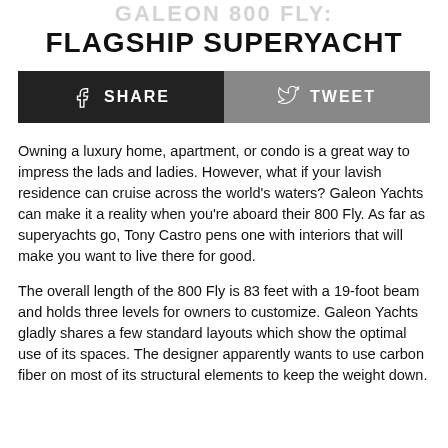FLAGSHIP SUPERYACHT
[Figure (infographic): Social sharing bar with Facebook Share button (black) and Twitter Tweet button (grey)]
Owning a luxury home, apartment, or condo is a great way to impress the lads and ladies. However, what if your lavish residence can cruise across the world’s waters? Galeon Yachts can make it a reality when you’re aboard their 800 Fly. As far as superyachts go, Tony Castro pens one with interiors that will make you want to live there for good.
The overall length of the 800 Fly is 83 feet with a 19-foot beam and holds three levels for owners to customize. Galeon Yachts gladly shares a few standard layouts which show the optimal use of its spaces. The designer apparently wants to use carbon fiber on most of its structural elements to keep the weight down.